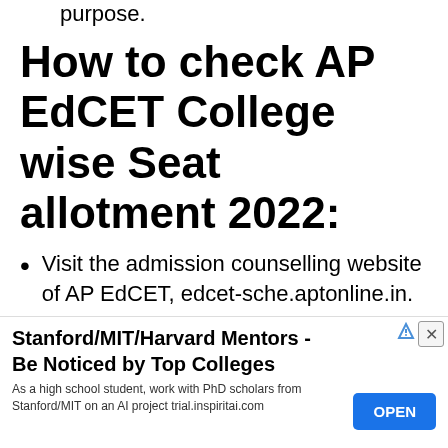purpose.
How to check AP EdCET College wise Seat allotment 2022:
Visit the admission counselling website of AP EdCET, edcet-sche.aptonline.in.
Click on ‘College-wise Allotment Details’
You’ll be directed to a new page
[Figure (other): Advertisement banner: Stanford/MIT/Harvard Mentors - Be Noticed by Top Colleges. As a high school student, work with PhD scholars from Stanford/MIT on an AI project trial.inspiritai.com. OPEN button.]